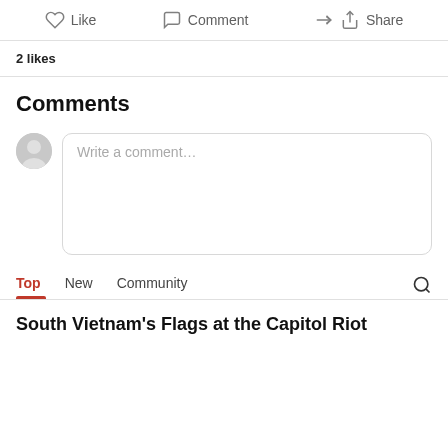Like  Comment  Share
2 likes
Comments
[Figure (other): Comment input box with avatar placeholder and 'Write a comment...' placeholder text]
Top  New  Community
South Vietnam's Flags at the Capitol Riot